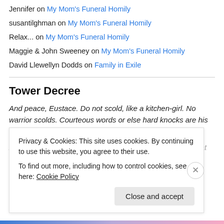Jennifer on My Mom's Funeral Homily
susantilghman on My Mom's Funeral Homily
Relax... on My Mom's Funeral Homily
Maggie & John Sweeney on My Mom's Funeral Homily
David Llewellyn Dodds on Family in Exile
Tower Decree
And peace, Eustace. Do not scold, like a kitchen-girl. No warrior scolds. Courteous words or else hard knocks are his only language (King Tirian, last king of Narnia).
As master of this blog, I have absolute discretion as to what constitutes
Privacy & Cookies: This site uses cookies. By continuing to use this website, you agree to their use.
To find out more, including how to control cookies, see here: Cookie Policy